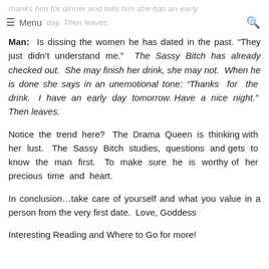thanks him for dinner and tells him she has an early day. Then leaves.
Man: Is dissing the women he has dated in the past. "They just didn't understand me." The Sassy Bitch has already checked out. She may finish her drink, she may not. When he is done she says in an unemotional tone: "Thanks for the drink. I have an early day tomorrow. Have a nice night." Then leaves.
Notice the trend here? The Drama Queen is thinking with her lust. The Sassy Bitch studies, questions and gets to know the man first. To make sure he is worthy of her precious time and heart.
In conclusion...take care of yourself and what you value in a person from the very first date. Love, Goddess
Interesting Reading and Where to Go for more!